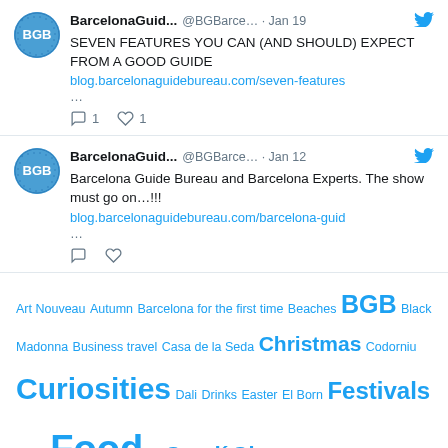[Figure (screenshot): Tweet from BarcelonaGuid... @BGBarce... Jan 19: SEVEN FEATURES YOU CAN (AND SHOULD) EXPECT FROM A GOOD GUIDE. blog.barcelonaguidebureau.com/seven-features ... with 1 comment and 1 like.]
[Figure (screenshot): Tweet from BarcelonaGuid... @BGBarce... Jan 12: Barcelona Guide Bureau and Barcelona Experts. The show must go on...!!! blog.barcelonaguidebureau.com/barcelona-guid ... with 0 comments and 0 likes.]
Art Nouveau Autumn Barcelona for the first time Beaches BGB Black Madonna Business travel Casa de la Seda Christmas Codorniu Curiosities Dali Drinks Easter El Born Festivals Films Food ... Gaudi Girona Good to know Gothic